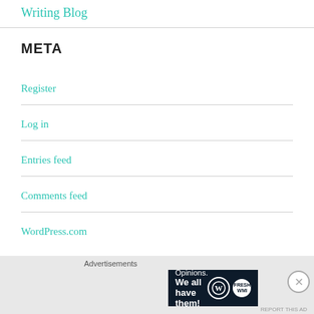Writing Blog
META
Register
Log in
Entries feed
Comments feed
WordPress.com
Advertisements
[Figure (other): Advertisement banner: 'Opinions. We all have them!' with WordPress and FreshWMI logos on dark navy background]